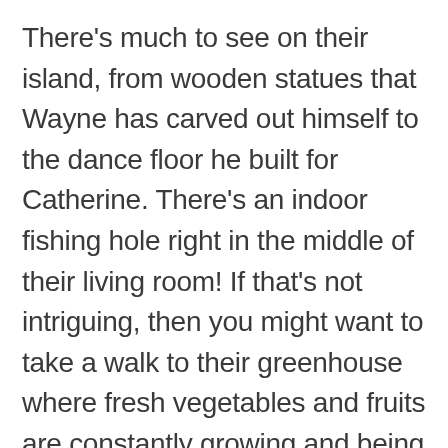There's much to see on their island, from wooden statues that Wayne has carved out himself to the dance floor he built for Catherine. There's an indoor fishing hole right in the middle of their living room! If that's not intriguing, then you might want to take a walk to their greenhouse where fresh vegetables and fruits are constantly growing and being picked. They sell their artwork to make some pocket money which they use occasionally to buy snacks and some essentials from the mainland.